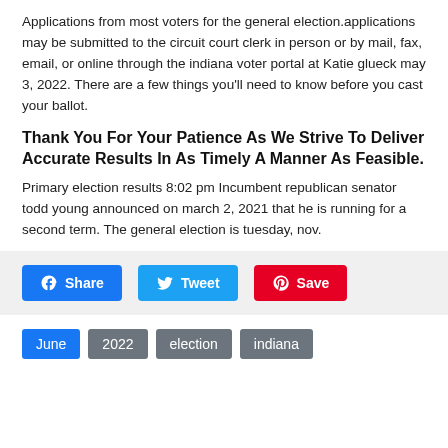Applications from most voters for the general election.applications may be submitted to the circuit court clerk in person or by mail, fax, email, or online through the indiana voter portal at Katie glueck may 3, 2022. There are a few things you'll need to know before you cast your ballot.
Thank You For Your Patience As We Strive To Deliver Accurate Results In As Timely A Manner As Feasible.
Primary election results 8:02 pm Incumbent republican senator todd young announced on march 2, 2021 that he is running for a second term. The general election is tuesday, nov.
Share  Tweet  Save
June  2022  election  indiana